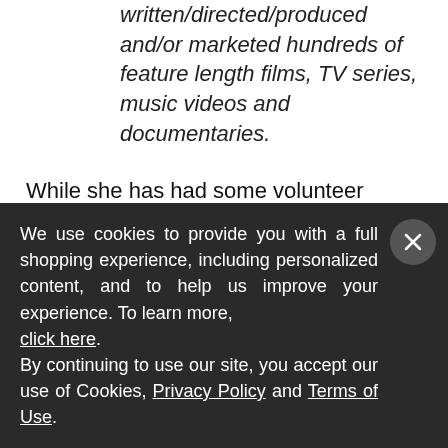written/directed/produced and/or marketed hundreds of feature length films, TV series, music videos and documentaries.
While she has had some volunteer assistance from Philip Hodgetts and Gregory Clark's Lumberjack System, used for logging the segments, Cirina does all of the shooting/production herself because there is no crew budget. To capture the Kionte's/Koja's story and action she uses Blackmagic Cinema Cameras, Blackmagic Pocket Camera, GoPro, NEX7 and their respective kits. All of the
We use cookies to provide you with a full shopping experience, including personalized content, and to help us improve your experience. To learn more, click here.
By continuing to use our site, you accept our use of Cookies, Privacy Policy and Terms of Use.